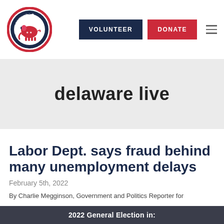[Figure (logo): Delaware Republican Party circular logo with elephant mascot and stars]
VOLUNTEER   DONATE
delaware live
Labor Dept. says fraud behind many unemployment delays
February 5th, 2022
By Charlie Megginson, Government and Politics Reporter for
2022 General Election in: